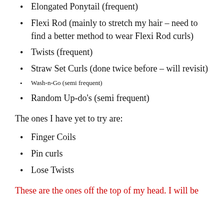Elongated Ponytail (frequent)
Flexi Rod (mainly to stretch my hair – need to find a better method to wear Flexi Rod curls)
Twists (frequent)
Straw Set Curls (done twice before – will revisit)
Wash-n-Go (semi frequent)
Random Up-do's (semi frequent)
The ones I have yet to try are:
Finger Coils
Pin curls
Lose Twists
These are the ones off the top of my head. I will be